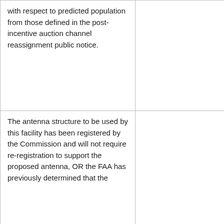| with respect to predicted population from those defined in the post-incentive auction channel reassignment public notice. |  |
| The antenna structure to be used by this facility has been registered by the Commission and will not require re-registration to support the proposed antenna, OR the FAA has previously determined that the proposed... |  |